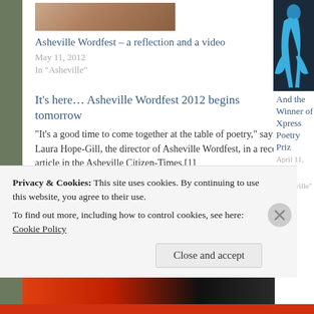[Figure (photo): Partial photo of a person, cropped at top, brownish tones]
Asheville Wordfest – a reflection and a video
May 11, 2012
In "Asheville"
[Figure (photo): Partial image of a figure in blue on dark background, right column]
And the Winner of Xpress Poetry Priz
April 11, 2011
In "Asheville"
It's here… Asheville Wordfest 2012 begins tomorrow
"It's a good time to come together at the table of poetry," says Laura Hope-Gill, the director of Asheville Wordfest, in a recent article in the Asheville Citizen-Times.[1]
I'm very excited to be part of the local
Privacy & Cookies: This site uses cookies. By continuing to use this website, you agree to their use.
To find out more, including how to control cookies, see here: Cookie Policy
Close and accept